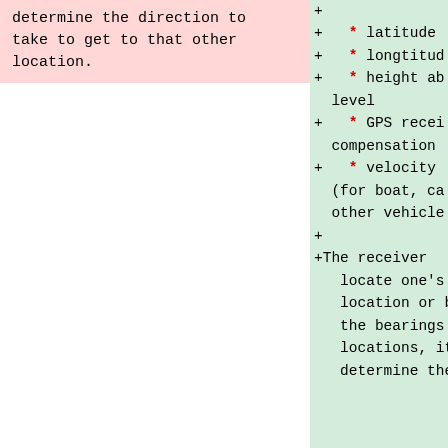determine the direction to take to get to that other location.
+
+   * latitude
+   * longtitud
+   * height ab
  level
+   * GPS recei
  compensation
+   * velocity
  (for boat, ca
  other vehicle
+
+The receiver
   locate one's
   location or b
   the bearings
   locations, it
   determine the